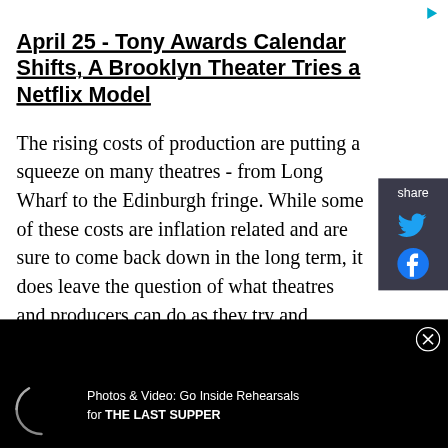April 25 - Tony Awards Calendar Shifts, A Brooklyn Theater Tries a Netflix Model
The rising costs of production are putting a squeeze on many theatres - from Long Wharf to the Edinburgh fringe. While some of these costs are inflation related and are sure to come back down in the long term, it does leave the question of what theatres and producers can do as they try and recover from the past two years of challenges. Other stories in this week’s newsletter take a look at the major cultural issues that existed at Break the Floor Productions, and the shifting calendar for awards
[Figure (screenshot): Share sidebar with Twitter and Facebook icons on dark background]
[Figure (screenshot): Bottom black overlay bar with loading spinner and video promo text: Photos & Video: Go Inside Rehearsals for THE LAST SUPPER, with close button]